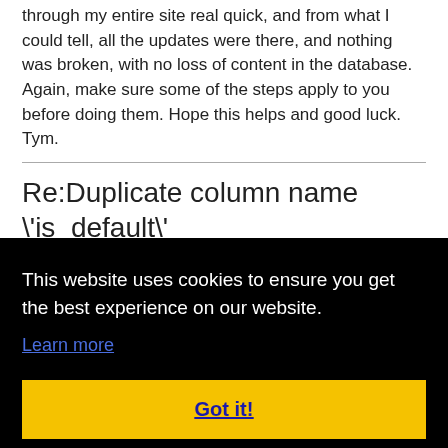through my entire site real quick, and from what I could tell, all the updates were there, and nothing was broken, with no loss of content in the database. Again, make sure some of the steps apply to you before doing them. Hope this helps and good luck. Tym.
Re:Duplicate column name \'is_default\'
Posted on: 08/01/03 04:14am
By: Dirk
This website uses cookies to ensure you get the best experience on our website.
Learn more
Got it!
your preferences. That way, you can